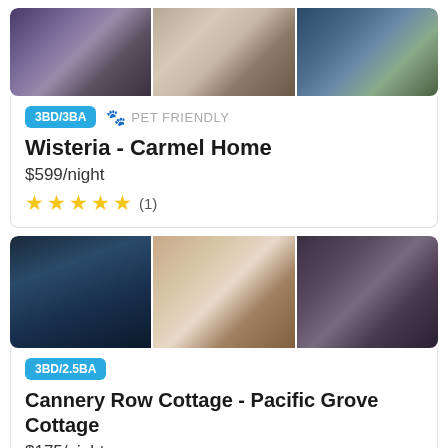[Figure (photo): Three property photos side by side for Wisteria - Carmel Home: wisteria-covered white fence exterior, elegant living room interior, coastal hillside view]
3BD/3BA   🐾 PET FRIENDLY
Wisteria - Carmel Home
$599/night
★★★★★ (1)
[Figure (photo): Three property photos side by side for Cannery Row Cottage: dark ocean/beach staircase view, bright kitchen interior, bedroom interior]
3BD/2.5BA
Cannery Row Cottage - Pacific Grove Cottage
$175/night